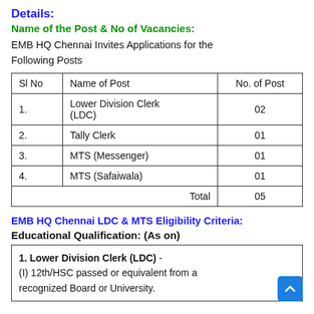Details:
Name of the Post & No of Vacancies:
EMB HQ Chennai Invites Applications for the Following Posts
| Sl No | Name of Post | No. of Post |
| --- | --- | --- |
| 1. | Lower Division Clerk (LDC) | 02 |
| 2. | Tally Clerk | 01 |
| 3. | MTS (Messenger) | 01 |
| 4. | MTS (Safaiwala) | 01 |
|  | Total | 05 |
EMB HQ Chennai LDC & MTS Eligibility Criteria:
Educational Qualification: (As on)
1. Lower Division Clerk (LDC) - (I) 12th/HSC passed or equivalent from a recognized Board or University.